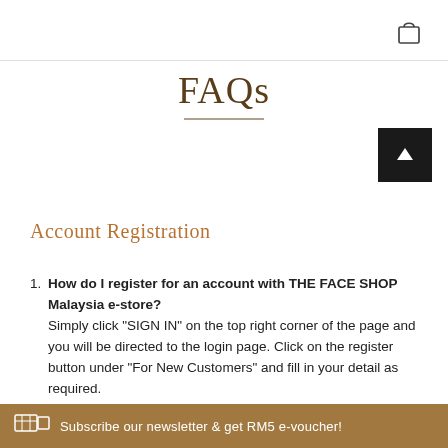FAQs
Account Registration
1. How do I register for an account with THE FACE SHOP Malaysia e-store?
Simply click "SIGN IN" on the top right corner of the page and you will be directed to the login page. Click on the register button under "For New Customers" and fill in your detail as required.
Subscribe our newsletter & get RM5 e-voucher!